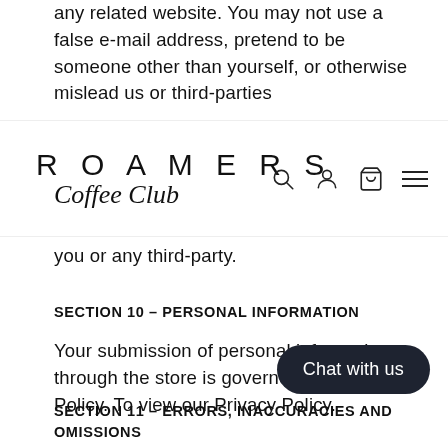any related website. You may not use a false e-mail address, pretend to be someone other than yourself, or otherwise mislead us or third-parties
[Figure (logo): Roamers Coffee Club logo with navigation icons (search, account, cart, menu)]
you or any third-party.
SECTION 10 – PERSONAL INFORMATION
Your submission of personal information through the store is governed by our Privacy Policy. To view our Privacy Policy.
SECTION 11 – ERRORS, INACCURACIES AND OMISSIONS